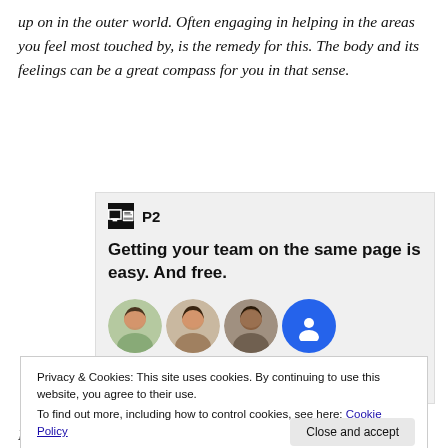up on in the outer world. Often engaging in helping in the areas you feel most touched by, is the remedy for this. The body and its feelings can be a great compass for you in that sense.
[Figure (screenshot): P2 advertisement banner: 'Getting your team on the same page is easy. And free.' with user avatars below]
Privacy & Cookies: This site uses cookies. By continuing to use this website, you agree to their use.
To find out more, including how to control cookies, see here: Cookie Policy
I am conscious that many in the spiritual community want